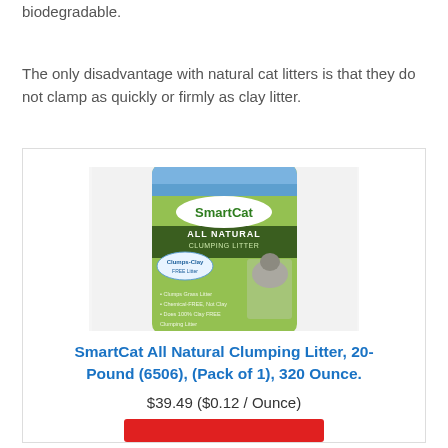biodegradable.
The only disadvantage with natural cat litters is that they do not clamp as quickly or firmly as clay litter.
[Figure (photo): SmartCat All Natural Clumping Litter bag product photo showing a green and blue bag with a cat image on front]
SmartCat All Natural Clumping Litter, 20-Pound (6506), (Pack of 1), 320 Ounce.
$39.49 ($0.12 / Ounce)